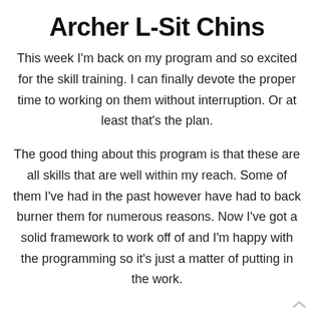Archer L-Sit Chins
This week I'm back on my program and so excited for the skill training. I can finally devote the proper time to working on them without interruption. Or at least that's the plan.
The good thing about this program is that these are all skills that are well within my reach. Some of them I've had in the past however have had to back burner them for numerous reasons. Now I've got a solid framework to work off of and I'm happy with the programming so it's just a matter of putting in the work.